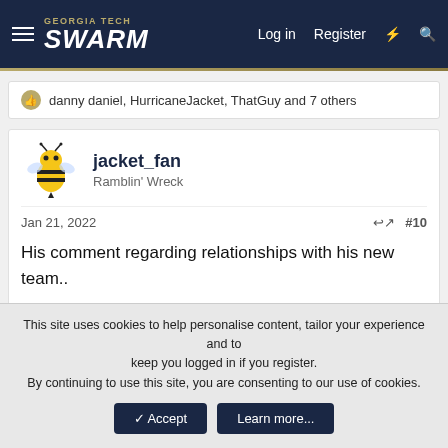GEORGIA TECH SWARM — Log in  Register
danny daniel, HurricaneJacket, ThatGuy and 7 others
jacket_fan
Ramblin' Wreck
Jan 21, 2022  #10
His comment regarding relationships with his new team..

"if you're not recruiting your kids, some else is"
Reply
This site uses cookies to help personalise content, tailor your experience and to keep you logged in if you register.
By continuing to use this site, you are consenting to our use of cookies.
✓ Accept   Learn more...